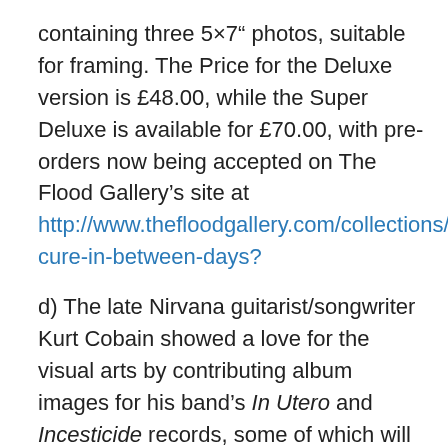containing three 5×7" photos, suitable for framing. The Price for the Deluxe version is £48.00, while the Super Deluxe is available for £70.00, with pre-orders now being accepted on The Flood Gallery's site at http://www.thefloodgallery.com/collections/the-cure-in-between-days?
d) The late Nirvana guitarist/songwriter Kurt Cobain showed a love for the visual arts by contributing album images for his band's In Utero and Incesticide records, some of which will be on display as part of the recently-announced touring show of his art, organized by his family and Jampol Artist Management – https://news.artnet.com/art-world/kurt-cobain-art-exhibition-522386. Kurt's visual arts genes live on in the artwork now being produced by his only child, the now 23-